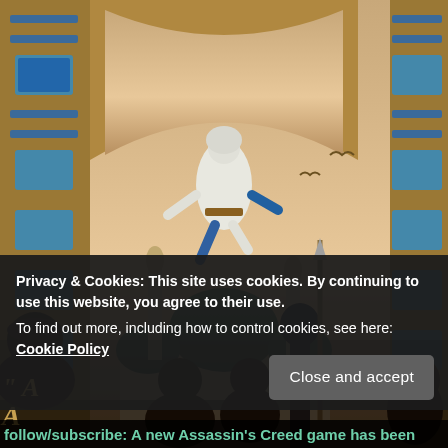[Figure (illustration): Assassin's Creed Mirage game artwork showing a hooded assassin leaping through an ornate archway above a crowd, with mosque domes and minarets in the background. People and a guard with a spear are visible in the foreground. A partial game logo is visible in the bottom right.]
Privacy & Cookies: This site uses cookies. By continuing to use this website, you agree to their use.
To find out more, including how to control cookies, see here: Cookie Policy
Close and accept
follow/subscribe: A new Assassin's Creed game has been